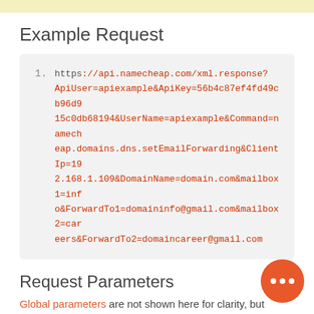Example Request
https://api.namecheap.com/xml.response?ApiUser=apiexample&ApiKey=56b4c87ef4fd49cb96d915c0db68194&UserName=apiexample&Command=namecheap.domains.dns.setEmailForwarding&ClientIp=192.168.1.109&DomainName=domain.com&mailbox1=info&ForwardTo1=domaininfo@gmail.com&mailbox2=careers&ForwardTo2=domaincareer@gmail.com
Request Parameters
Global parameters are not shown here for clarity, but should be present in all requests
| Name | Type | Mandatory | D |
| --- | --- | --- | --- |